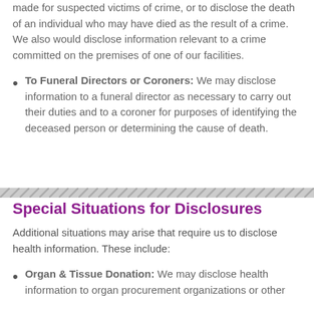made for suspected victims of crime, or to disclose the death of an individual who may have died as the result of a crime. We also would disclose information relevant to a crime committed on the premises of one of our facilities.
To Funeral Directors or Coroners: We may disclose information to a funeral director as necessary to carry out their duties and to a coroner for purposes of identifying the deceased person or determining the cause of death.
Special Situations for Disclosures
Additional situations may arise that require us to disclose health information. These include:
Organ & Tissue Donation: We may disclose health information to organ procurement organizations or other